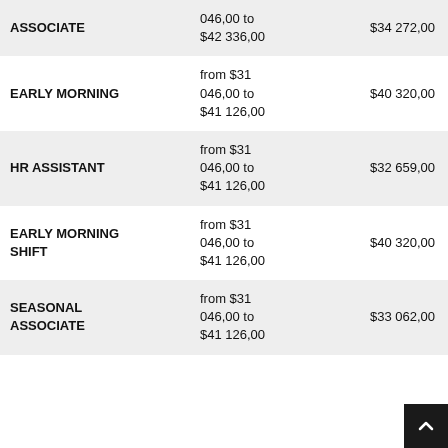| Job Title | Salary Range | Average Salary |
| --- | --- | --- |
| ASSOCIATE | 046,00 to $42 336,00 | $34 272,00 |
| EARLY MORNING | from $31 046,00 to $41 126,00 | $40 320,00 |
| HR ASSISTANT | from $31 046,00 to $41 126,00 | $32 659,00 |
| EARLY MORNING SHIFT | from $31 046,00 to $41 126,00 | $40 320,00 |
| SEASONAL ASSOCIATE | from $31 046,00 to $41 126,00 | $33 062,00 |